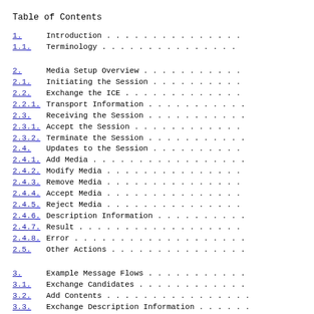Table of Contents
1.    Introduction . . . . . . . . . . . . . . .
1.1.  Terminology . . . . . . . . . . . . . . .
2.    Media Setup Overview . . . . . . . . . . .
2.1.  Initiating the Session . . . . . . . . . .
2.2.  Exchange the ICE . . . . . . . . . . . . .
2.2.1. Transport Information . . . . . . . . . .
2.3.  Receiving the Session . . . . . . . . . .
2.3.1. Accept the Session . . . . . . . . . . .
2.3.2. Terminate the Session . . . . . . . . . .
2.4.  Updates to the Session . . . . . . . . . .
2.4.1. Add Media . . . . . . . . . . . . . . . .
2.4.2. Modify Media . . . . . . . . . . . . . .
2.4.3. Remove Media . . . . . . . . . . . . . .
2.4.4. Accept Media . . . . . . . . . . . . . .
2.4.5. Reject Media . . . . . . . . . . . . . .
2.4.6. Description Information . . . . . . . . .
2.4.7. Result . . . . . . . . . . . . . . . . .
2.4.8. Error . . . . . . . . . . . . . . . . . .
2.5.  Other Actions . . . . . . . . . . . . . .
3.    Example Message Flows . . . . . . . . . .
3.1.  Exchange Candidates . . . . . . . . . . .
3.2.  Add Contents . . . . . . . . . . . . . . .
3.3.  Exchange Description Information . . . . .
4.    Security Considerations . . . . . . . . .